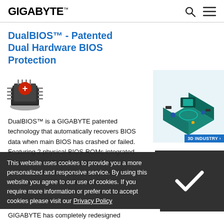GIGABYTE
DualBIOS™ - Patented Dual Hardware BIOS Protection
[Figure (illustration): DualBIOS chip icon — a chip with a red cross/plus symbol on top and metallic legs, illustrating BIOS dual-chip technology]
DualBIOS™ is a GIGABYTE patented technology that automatically recovers BIOS data when main BIOS has crashed or failed. Featuring 2 physical BIOS ROMs integrated onboard, GIGABYTE DualBIOS™ allows quick and seamless recovery from BIOS damage or failure due to viruses or
[Figure (illustration): 3D isometric illustration of a motherboard/PCB with blue teal accent, labeled '3D INDUSTRY >']
This website uses cookies to provide you a more personalized and responsive service. By using this website you agree to our use of cookies. If you require more information or prefer not to accept cookies please visit our Privacy Policy
GIGABYTE has completely redesigned